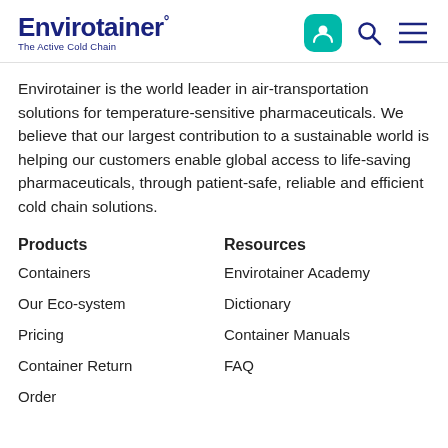Envirotainer° The Active Cold Chain
Envirotainer is the world leader in air-transportation solutions for temperature-sensitive pharmaceuticals. We believe that our largest contribution to a sustainable world is helping our customers enable global access to life-saving pharmaceuticals, through patient-safe, reliable and efficient cold chain solutions.
Products
Containers
Our Eco-system
Pricing
Container Return
Order
Resources
Envirotainer Academy
Dictionary
Container Manuals
FAQ